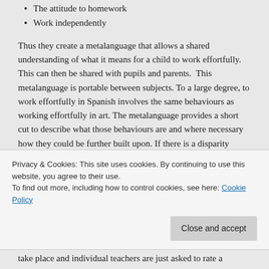The attitude to homework
Work independently
Thus they create a metalanguage that allows a shared understanding of what it means for a child to work effortfully. This can then be shared with pupils and parents.  This metalanguage is portable between subjects. To a large degree, to work effortfully in Spanish involves the same behaviours as working effortfully in art. The metalanguage provides a short cut to describe what those behaviours are and where necessary how they could be further built upon. If there is a disparity between subjects, it allows for meaningful conversation about what is it specifically that the child isn't doing in a particular subject that they could address.
Privacy & Cookies: This site uses cookies. By continuing to use this website, you agree to their use.
To find out more, including how to control cookies, see here: Cookie Policy
take place and individual teachers are just asked to rate a